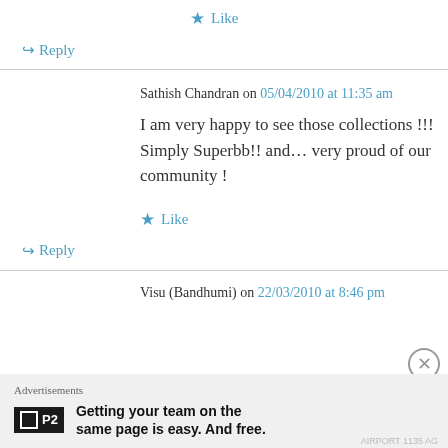★ Like
↳ Reply
Sathish Chandran on 05/04/2010 at 11:35 am
I am very happy to see those collections !!! Simply Superbb!! and… very proud of our community !
★ Like
↳ Reply
Visu (Bandhumi) on 22/03/2010 at 8:46 pm
Advertisements
Getting your team on the same page is easy. And free.